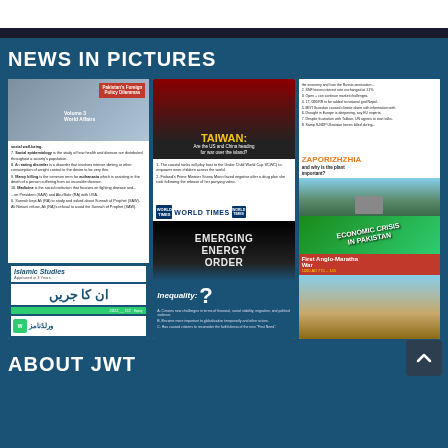NEWS IN PICTURES
[Figure (other): Collage of magazine/journal covers and article thumbnails — column 1: Pakistan Foreign Policy, Islamic Studies covers, Urdu text]
[Figure (other): Collage — column 2: Taiwan US China heading to war article, World Times magazine, Emerging Energy Order, Inequality question mark]
[Figure (other): Collage — column 3: news bullets, Zaporizhzhia plant, Economic Crisis in Pakistan, First Anglo-Maratha War]
ABOUT JWT